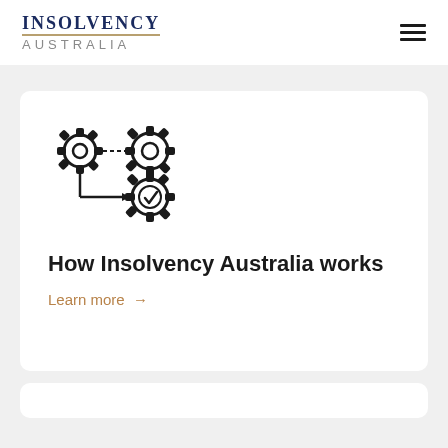INSOLVENCY AUSTRALIA
[Figure (illustration): Icon showing three interconnected gears/cogs — two at top connected by a dashed line, one at bottom right with a checkmark inside, connected by an L-shaped arrow from the top-left gear]
How Insolvency Australia works
Learn more →